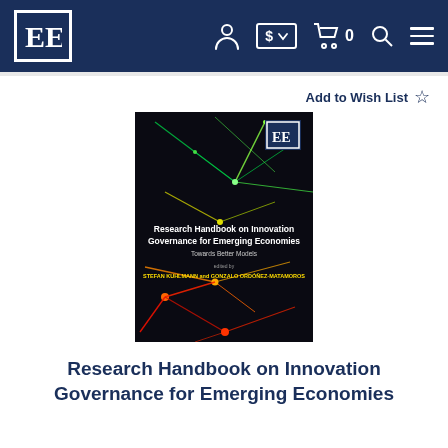[Figure (logo): Edward Elgar Publishing logo - EE initials in white on dark navy background with white border]
[Figure (screenshot): Website navigation bar with user account, currency selector, shopping cart, search, and menu icons on dark navy background]
Add to Wish List ☆
[Figure (photo): Book cover of 'Research Handbook on Innovation Governance for Emerging Economies: Towards Better Models' edited by Stefan Kuhlmann and Gonzalo Ordoñez-Matamoros. Dark background with colorful network/node connection lines in green, yellow, orange and red.]
Research Handbook on Innovation Governance for Emerging Economies